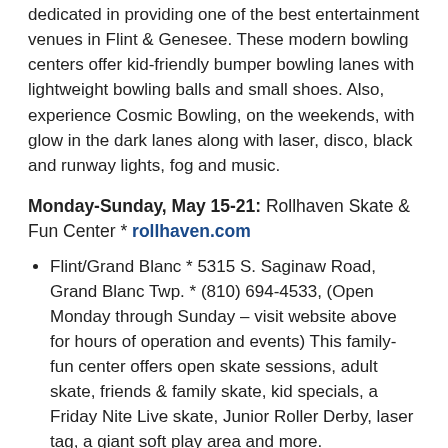dedicated in providing one of the best entertainment venues in Flint & Genesee. These modern bowling centers offer kid-friendly bumper bowling lanes with lightweight bowling balls and small shoes. Also, experience Cosmic Bowling, on the weekends, with glow in the dark lanes along with laser, disco, black and runway lights, fog and music.
Monday-Sunday, May 15-21: Rollhaven Skate & Fun Center * rollhaven.com
Flint/Grand Blanc * 5315 S. Saginaw Road, Grand Blanc Twp. * (810) 694-4533, (Open Monday through Sunday – visit website above for hours of operation and events) This family-fun center offers open skate sessions, adult skate, friends & family skate, kid specials, a Friday Nite Live skate, Junior Roller Derby, laser tag, a giant soft play area and more.
Flushing * 3464 Ann Drive, Flushing * (810) 659-7260, (Open Monday through Sunday – check website above for hours of operation and events) Rollhaven Skate & Fun Center in Flushing has fun for everyone with open skate sessions, Friday Nite Live skate, Sunday FunDay, CannonBlaster and a huge soft